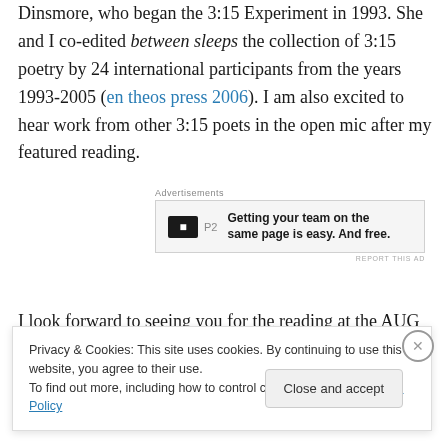2002-2010. I am excited to share the night with Danika Dinsmore, who began the 3:15 Experiment in 1993. She and I co-edited between sleeps the collection of 3:15 poetry by 24 international participants from the years 1993-2005 (en theos press 2006). I am also excited to hear work from other 3:15 poets in the open mic after my featured reading.
[Figure (screenshot): Advertisement banner for P2: 'Getting your team on the same page is easy. And free.']
I look forward to seeing you for the reading at the AUG or
Privacy & Cookies: This site uses cookies. By continuing to use this website, you agree to their use. To find out more, including how to control cookies, see here: Cookie Policy